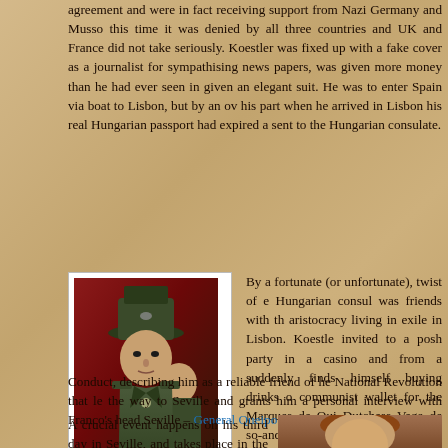agreement and were in fact receiving support from Nazi Germany and Musso... this time it was denied by all three countries and UK and France did not take... seriously. Koestler was fixed up with a fake cover as a journalist for... sympathising news papers, was given more money than he had ever seen in... given an elegant suit. He was to enter Spain via boat to Lisbon, but by an ov... his part when he arrived in Lisbon his real Hungarian passport had expired a... sent to the Hungarian consulate.
[Figure (photo): Black and white photograph of Queipo de Llano in military uniform with other officers]
Queipo de Llano
By a fortunate (or unfortunate), twist of e... Hungarian consul was friends with th... aristocracy living in exile in Lisbon. Koestle... invited to a posh party in a casino and from a... suddenly finds himself buying drinks o... communist wallet for the Marques de Qui... Dutchess Vega de so-and-so, and whe... suggests a toast to the Hungarian Rege... reciprocates by drinking to the health of Gene... The most extraordinary thing is that he is int... no one less than Franco's brother, Nicolas Fr... whom he obtains a priceless document ca...
Conduct, describing him as a reliable friend of he National Revolution that le... the way to Seville and grants him a personal interview with Franco's head... Seville – General Queipo de Llano.
A crucial event happens on his third day in Seville, and takes place in the allegedly famous Hotel Cristina. Having lived in Seville for a year and a half I did not know of any such place and I was...